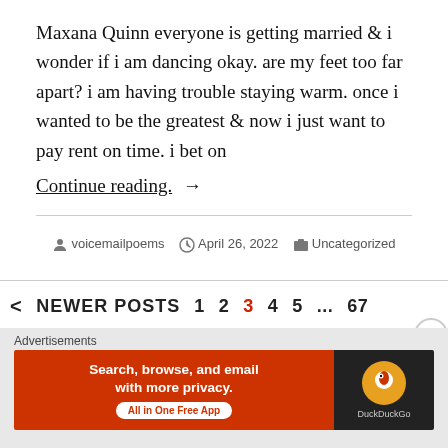Maxana Quinn everyone is getting married & i wonder if i am dancing okay. are my feet too far apart? i am having trouble staying warm. once i wanted to be the greatest & now i just want to pay rent on time. i bet on
Continue reading. →
voicemailpoems  April 26, 2022  Uncategorized  Leave a comment
< NEWER POSTS  1  2  3  4  5  ...  67